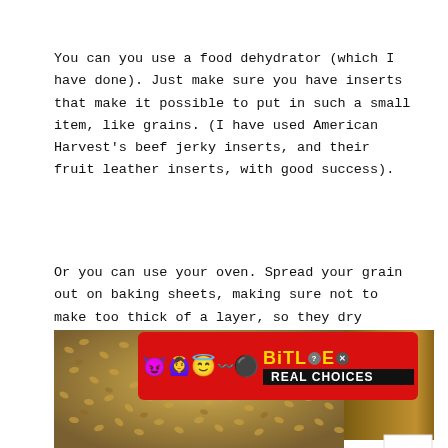You can you use a food dehydrator (which I have done). Just make sure you have inserts that make it possible to put in such a small item, like grains. (I have used American Harvest's beef jerky inserts, and their fruit leather inserts, with good success).
Or you can use your oven. Spread your grain out on baking sheets, making sure not to make too thick of a layer, so they dry evenly.
[Figure (photo): A metal baking sheet covered with small grains/seeds spread out in a single layer, with a wooden surface visible in the background. A reCAPTCHA badge appears in the lower right corner.]
[Figure (infographic): BitLife advertisement banner with red background, emoji characters (devil, woman with hands up, angel winking face, worm), BitLife logo in gold text, and 'REAL CHOICES' text on black background.]